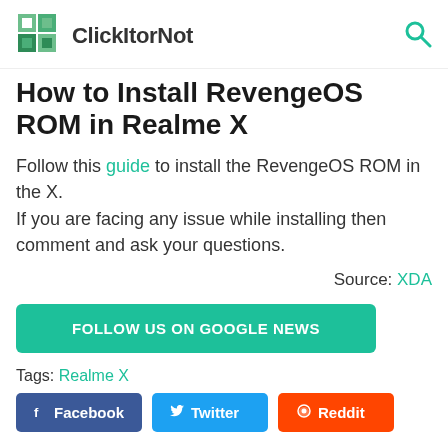ClickItorNot
How to Install RevengeOS ROM in Realme X
Follow this guide to install the RevengeOS ROM in the X.
If you are facing any issue while installing then comment and ask your questions.
Source: XDA
FOLLOW US ON GOOGLE NEWS
Tags: Realme X
Facebook  Twitter  Reddit